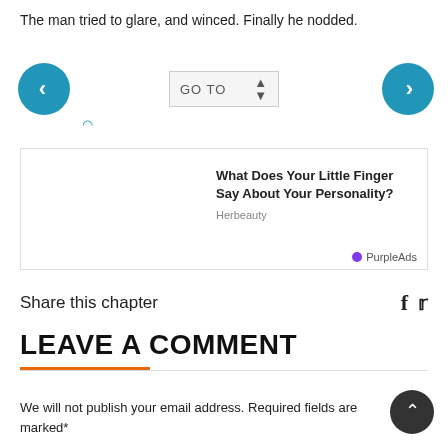The man tried to glare, and winced. Finally he nodded.
[Figure (screenshot): Navigation UI with left arrow button, GO TO dropdown selector, right arrow button, and a loading icon]
[Figure (screenshot): Advertisement box with text: What Does Your Little Finger Say About Your Personality? Herbeauty. PurpleAds logo at bottom right.]
Share this chapter
LEAVE A COMMENT
We will not publish your email address. Required fields are marked*